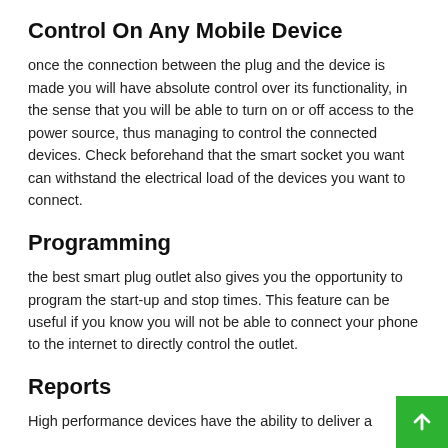Control On Any Mobile Device
once the connection between the plug and the device is made you will have absolute control over its functionality, in the sense that you will be able to turn on or off access to the power source, thus managing to control the connected devices. Check beforehand that the smart socket you want can withstand the electrical load of the devices you want to connect.
Programming
the best smart plug outlet also gives you the opportunity to program the start-up and stop times. This feature can be useful if you know you will not be able to connect your phone to the internet to directly control the outlet.
Reports
High performance devices have the ability to deliver a